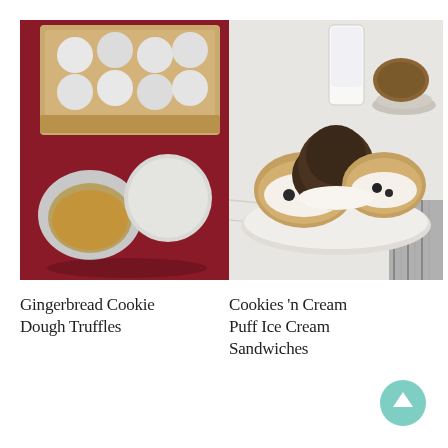[Figure (photo): White-coated gingerbread cookie dough truffles on a red background, with a box of white truffles in the background. One truffle is cut open showing golden-brown filling.]
[Figure (photo): Cookies and cream puff ice cream sandwiches on a white plate on a marble surface, with a glass of milk in the background. Pastry puffs filled with cookies and cream ice cream, topped with chocolate crumbs.]
Gingerbread Cookie Dough Truffles
Cookies ’n Cream Puff Ice Cream Sandwiches